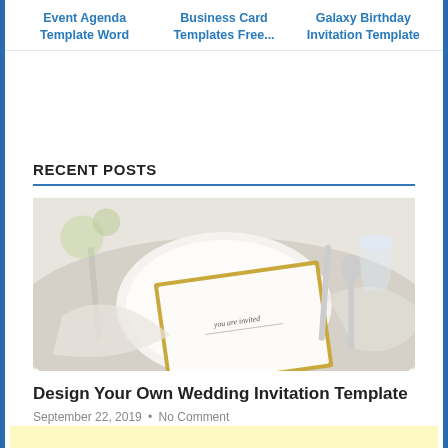Event Agenda Template Word | Business Card Templates Free... | Galaxy Birthday Invitation Template
RECENT POSTS
[Figure (photo): A table setting with a white plate, cutlery, a golden-bordered card or invitation reading 'you are invited', and white fabric/napkin.]
Design Your Own Wedding Invitation Template
September 22, 2019 • No Comment